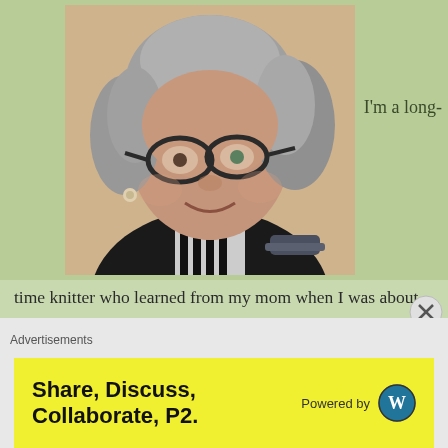[Figure (photo): Portrait photo of an older woman with gray hair and black-rimmed glasses, smiling, wearing a dark jacket with a striped top underneath]
I'm a long-time knitter who learned from my mom when I was about 5. My very first project was a little scarf for my teddy bear and I remember it well. Wish I still had it! I watched my mom knit my entire life and now it's a big part of my life,
Advertisements
Share, Discuss, Collaborate, P2.
Powered by [WordPress logo]